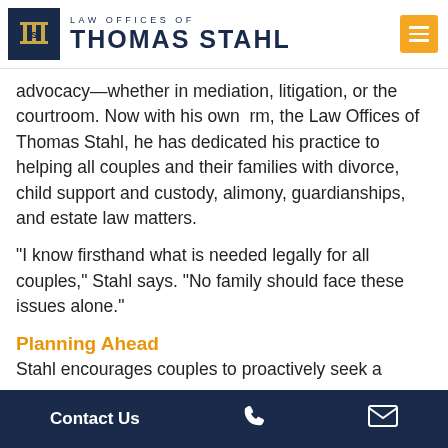[Figure (logo): Law Offices of Thomas Stahl logo with dark navy background icon and text]
advocacy—whether in mediation, litigation, or the courtroom. Now with his own firm, the Law Offices of Thomas Stahl, he has dedicated his practice to helping all couples and their families with divorce, child support and custody, alimony, guardianships, and estate law matters.
“I know firsthand what is needed legally for all couples,” Stahl says. “No family should face these issues alone.”
Planning Ahead
Stahl encourages couples to proactively seek a family…
Contact Us